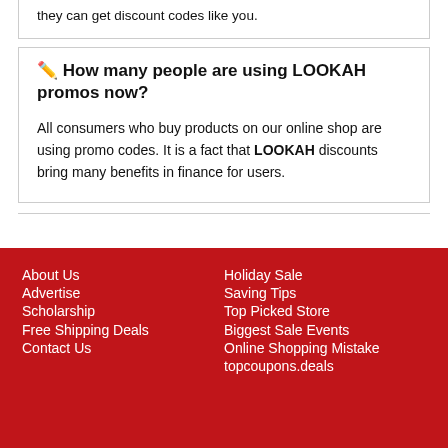they can get discount codes like you.
✏️ How many people are using LOOKAH promos now?
All consumers who buy products on our online shop are using promo codes. It is a fact that LOOKAH discounts bring many benefits in finance for users.
About Us
Advertise
Scholarship
Free Shipping Deals
Contact Us
Holiday Sale
Saving Tips
Top Picked Store
Biggest Sale Events
Online Shopping Mistake
topcoupons.deals